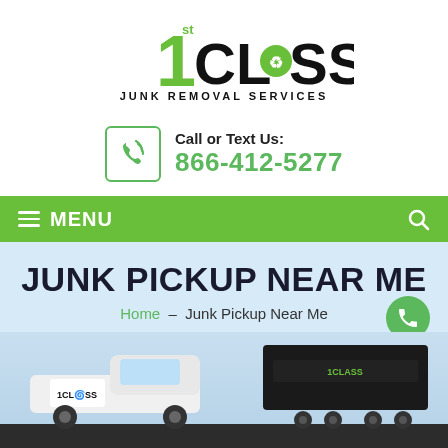[Figure (logo): 1st Class Junk Removal Services logo with green '1' and recycling icon]
Call or Text Us: 866-412-5277
[Figure (infographic): Green menu navigation bar with hamburger icon, MENU label, and search icon]
JUNK PICKUP NEAR ME
Home – Junk Pickup Near Me
[Figure (photo): Photo of 1st Class Junk Removal truck and dumpster trailer on dark ground background]